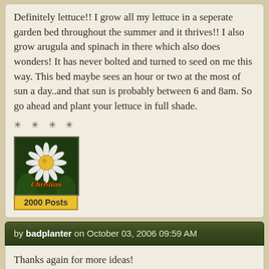Definitely lettuce!! I grow all my lettuce in a seperate garden bed throughout the summer and it thrives!! I also grow arugula and spinach in there which also does wonders! It has never bolted and turned to seed on me this way. This bed maybe sees an hour or two at the most of sun a day..and that sun is probably between 6 and 8am. So go ahead and plant your lettuce in full shade.
[Figure (photo): Avatar photo of user Christina showing a white daisy flower with yellow center on dark green background, with the name 'Christina' overlaid in orange script text. Below the avatar is a yellow badge reading '2000 Posts'.]
by badplanter on October 03, 2006 09:59 AM
Thanks again for more ideas!
I'm basically growing over the summer, so lettuce is a